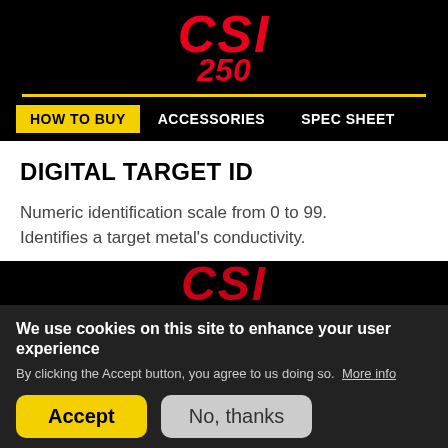CSI 250
DIGITAL TARGET ID
Numeric identification scale from 0 to 99. Identifies a target metal's conductivity.
[Figure (logo): CSI logo in red italic text at bottom of content area]
We use cookies on this site to enhance your user experience
By clicking the Accept button, you agree to us doing so. More info
Accept
No, thanks